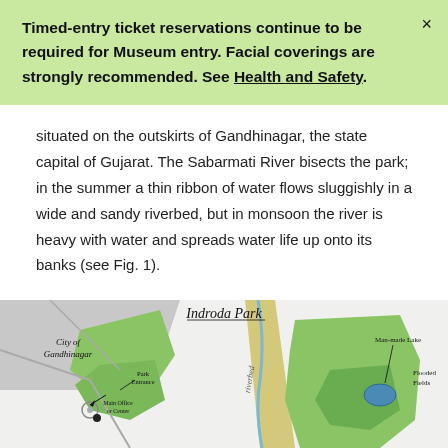Timed-entry ticket reservations continue to be required for Museum entry. Facial coverings are strongly recommended. See Health and Safety.
situated on the outskirts of Gandhinagar, the state capital of Gujarat. The Sabarmati River bisects the park; in the summer a thin ribbon of water flows sluggishly in a wide and sandy riverbed, but in monsoon the river is heavy with water and spreads water life up onto its banks (see Fig. 1).
[Figure (map): Hand-drawn map of Indroda Park showing City of Gandhinagar, Park Entrance, Main Office or Center, Man-made Lake, Flooded Fields, and a riverbed running through the park.]